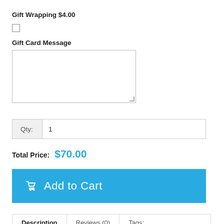Gift Wrapping $4.00
[Figure (other): Checkbox (unchecked) for gift wrapping option]
Gift Card Message
[Figure (other): Text area input box for gift card message]
Qty: 1
Total Price: $70.00
Add to Cart
Description | Reviews (0) | Tags:
Stained Glass 10" Cross Suncatcher, Blue/Green #125 Made in